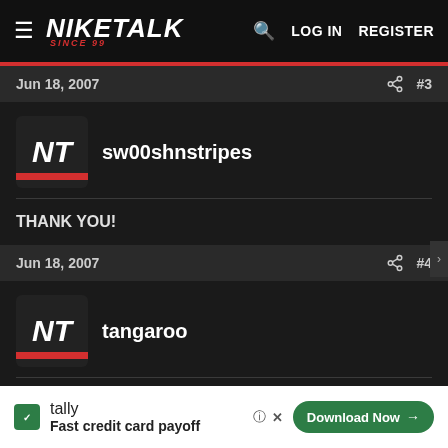NIKETALK SINCE 99 | LOG IN | REGISTER
Jun 18, 2007  #3
sw00shnstripes
THANK YOU!
Jun 18, 2007  #4
tangaroo
nice, definitely a treasure trove of info.
[Figure (screenshot): Tally ad banner: Fast credit card payoff with Download Now button]